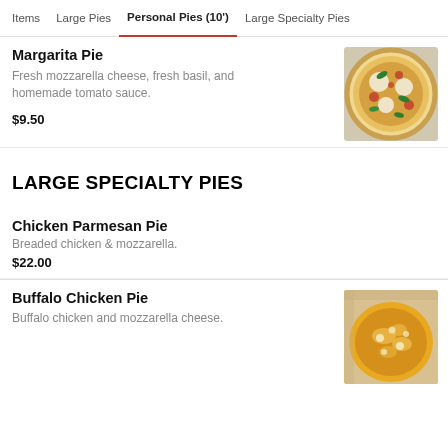Items | Large Pies | Personal Pies (10') | Large Specialty Pies
Margarita Pie
Fresh mozzarella cheese, fresh basil, and homemade tomato sauce.
$9.50
[Figure (photo): Photo of Margarita Pie pizza with fresh basil, mozzarella, and tomato sauce on a round pizza]
LARGE SPECIALTY PIES
Chicken Parmesan Pie
Breaded chicken & mozzarella.
$22.00
Buffalo Chicken Pie
Buffalo chicken and mozzarella cheese.
[Figure (photo): Photo of Buffalo Chicken Pie pizza with golden cheese and buffalo sauce topping]